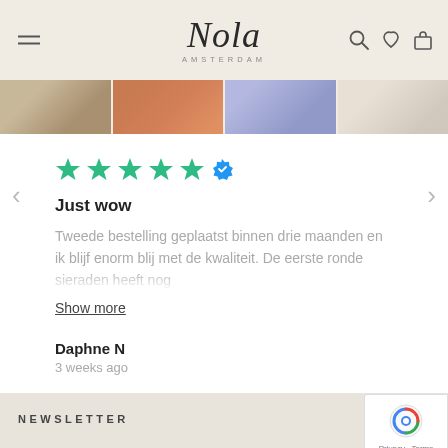Nola Amsterdam
[Figure (photo): Horizontal strip of four product/lifestyle images showing jewelry, beach scenes, and swimwear]
[Figure (other): Five green star rating icons followed by a blue verified checkmark badge]
Just wow
Tweede bestelling geplaatst binnen drie maanden en ik blijf enorm blij met de kwaliteit. De eerste ronde sieraden heeft nog
Show more
Daphne N
3 weeks ago
NEWSLETTER